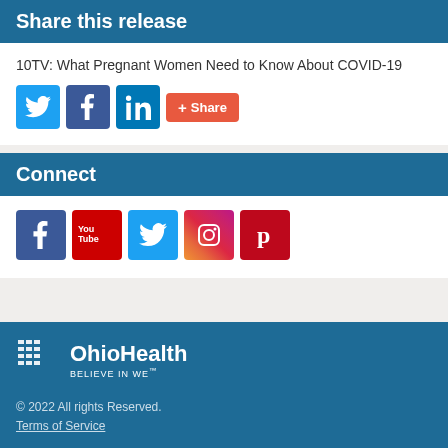Share this release
10TV: What Pregnant Women Need to Know About COVID-19
[Figure (infographic): Social share buttons: Twitter, Facebook, LinkedIn, AddThis Share]
Connect
[Figure (infographic): Social connect icons: Facebook, YouTube, Twitter, Instagram, Pinterest]
[Figure (logo): OhioHealth logo with tagline BELIEVE IN WE]
© 2022 All rights Reserved.
Terms of Service